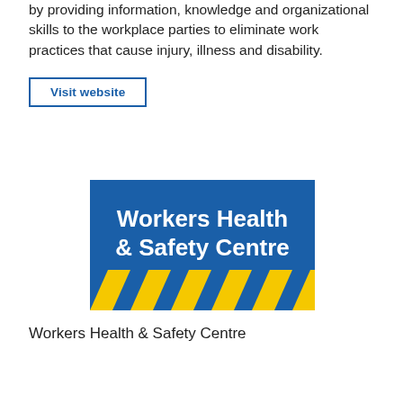by providing information, knowledge and organizational skills to the workplace parties to eliminate work practices that cause injury, illness and disability.
[Figure (logo): Workers Health & Safety Centre logo — blue rectangle with white bold text 'Workers Health & Safety Centre' and yellow/blue diagonal hazard stripes at the bottom]
Workers Health & Safety Centre